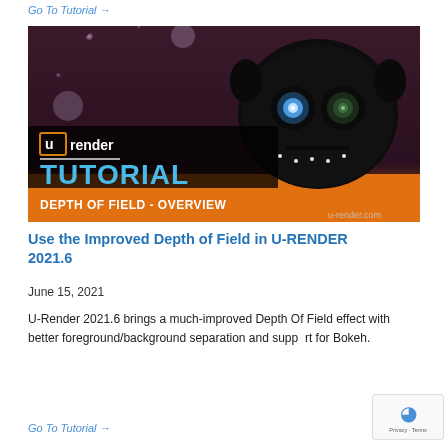Go To Tutorial →
[Figure (screenshot): U-Render tutorial thumbnail showing a black robotic skull with glowing eyes. Text overlay reads: 'u render TUTORIAL DEPTH OF FIELD - OVERVIEW' with orange and dark background. Footer shows u-render.com.]
Use the Improved Depth of Field in U-RENDER 2021.6
June 15, 2021
U-Render 2021.6 brings a much-improved Depth Of Field effect with better foreground/background separation and support for Bokeh.
Go To Tutorial →